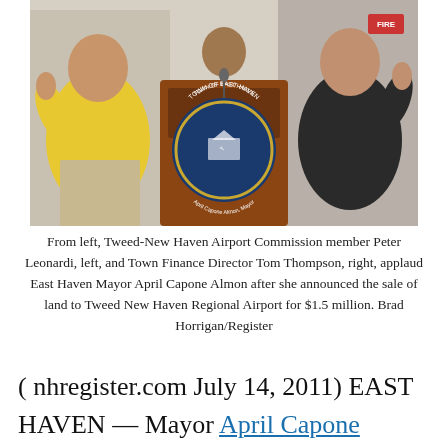[Figure (photo): Three people at a podium with the Town of East Haven seal; person on left in yellow shirt, person in center at podium with microphone, person on right in dark suit, all applauding.]
From left, Tweed-New Haven Airport Commission member Peter Leonardi, left, and Town Finance Director Tom Thompson, right, applaud East Haven Mayor April Capone Almon after she announced the sale of land to Tweed New Haven Regional Airport for $1.5 million. Brad Horrigan/Register
( nhregister.com July 14, 2011) EAST HAVEN — Mayor April Capone announced Thursday that the Tweed New Haven Airport